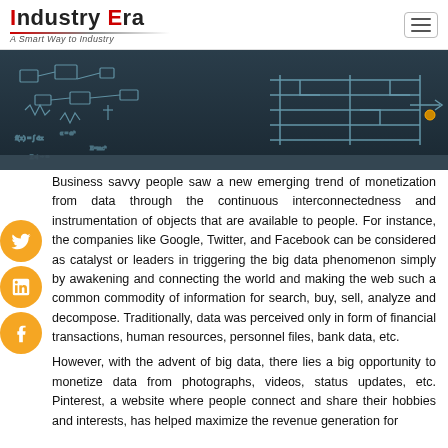Industry Era — A Smart Way to Industry
[Figure (photo): Dark chalkboard with circuit diagrams, mathematical formulas, and technical drawings in white chalk]
Business savvy people saw a new emerging trend of monetization from data through the continuous interconnectedness and instrumentation of objects that are available to people. For instance, the companies like Google, Twitter, and Facebook can be considered as catalyst or leaders in triggering the big data phenomenon simply by awakening and connecting the world and making the web such a common commodity of information for search, buy, sell, analyze and decompose. Traditionally, data was perceived only in form of financial transactions, human resources, personnel files, bank data, etc.
However, with the advent of big data, there lies a big opportunity to monetize data from photographs, videos, status updates, etc. Pinterest, a website where people connect and share their hobbies and interests, has helped maximize the revenue generation for